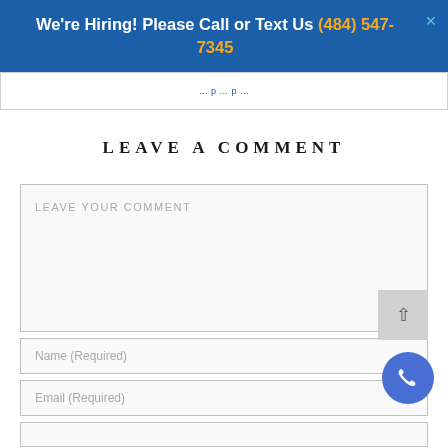We're Hiring! Please Call or Text Us (484) 547-7345
LEAVE A COMMENT
LEAVE YOUR COMMENT
Name (Required)
Email (Required)